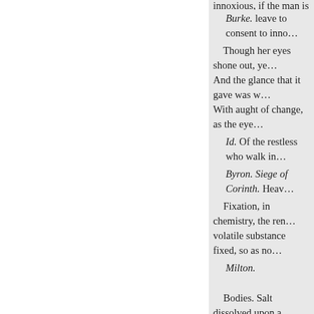…innoxious, if the man is nothing…
Burke. leave to consent to inno…
Though her eyes shone out, ye… And the glance that it gave was w… With aught of change, as the eye…
Id. Of the restless who walk in…
Byron. Siege of Corinth. Heav…
Fixation, in chemistry, the ren… volatile substance fixed, so as no…
Milton.
Bodies. Salt dissolved upon a…
Glanville,
Fixed Air, in the old chemical… an invisible and permanently elas…
Waller. rior in gravity to the co… and most other aerial fluids, exce… animal life; produced in great qu…
« Назад